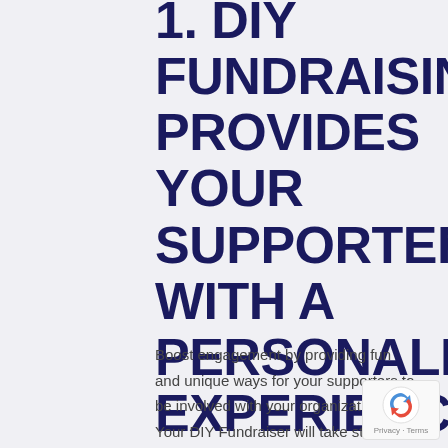1. DIY FUNDRAISING PROVIDES YOUR SUPPORTERS WITH A PERSONALIZED EXPERIENCE
Boost engagement by providing fun and unique ways for your supporters to be involved with your organization. Your DIY Fundraiser will take stronger ownership of